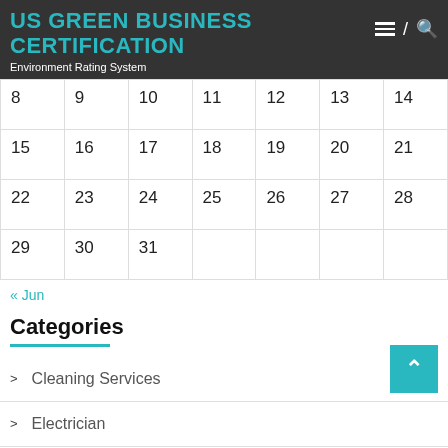US GREEN BUSINESS CERTIFICATION
Environment Rating System
| 8 | 9 | 10 | 11 | 12 | 13 | 14 |
| 15 | 16 | 17 | 18 | 19 | 20 | 21 |
| 22 | 23 | 24 | 25 | 26 | 27 | 28 |
| 29 | 30 | 31 |  |  |  |  |
« Jun
Categories
Cleaning Services
Electrician
Gutters
Main